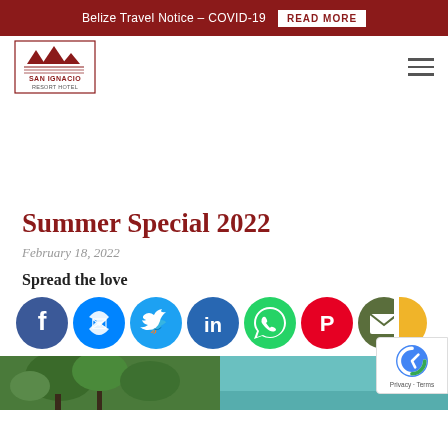Belize Travel Notice – COVID-19  READ MORE
[Figure (logo): San Ignacio Resort Hotel logo — mountain/pyramid graphic above text SAN IGNACIO RESORT HOTEL]
Summer Special 2022
February 18, 2022
Spread the love
[Figure (infographic): Row of social media sharing icons: Facebook (blue), Messenger (blue), Twitter (light blue), LinkedIn (dark blue/teal), WhatsApp (green), Pinterest (red), Email (dark olive/green), and a partially visible yellow icon]
[Figure (photo): Partial bottom image strip showing tropical scenery — trees on left side, teal/turquoise water or pool on right side]